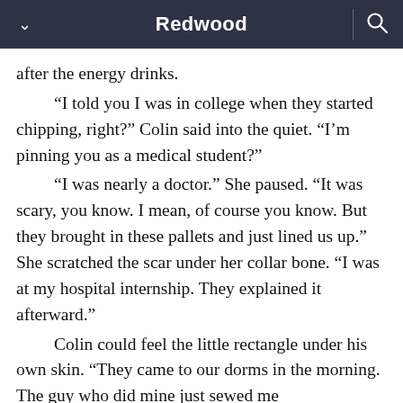Redwood
after the energy drinks.

“I told you I was in college when they started chipping, right?” Colin said into the quiet. “I’m pinning you as a medical student?”

“I was nearly a doctor.” She paused. “It was scary, you know. I mean, of course you know. But they brought in these pallets and just lined us up.” She scratched the scar under her collar bone. “I was at my hospital internship. They explained it afterward.”

Colin could feel the little rectangle under his own skin. “They came to our dorms in the morning. The guy who did mine just sewed me